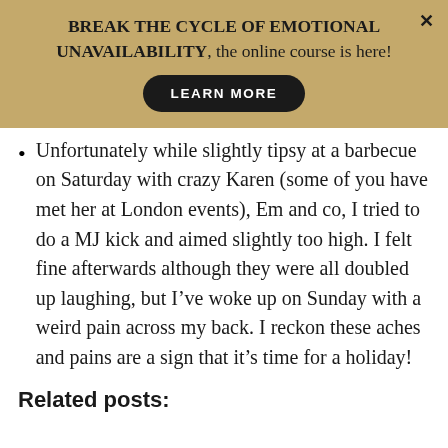BREAK THE CYCLE OF EMOTIONAL UNAVAILABILITY, the online course is here!
Unfortunately while slightly tipsy at a barbecue on Saturday with crazy Karen (some of you have met her at London events), Em and co, I tried to do a MJ kick and aimed slightly too high. I felt fine afterwards although they were all doubled up laughing, but I’ve woke up on Sunday with a weird pain across my back. I reckon these aches and pains are a sign that it’s time for a holiday!
Related posts: